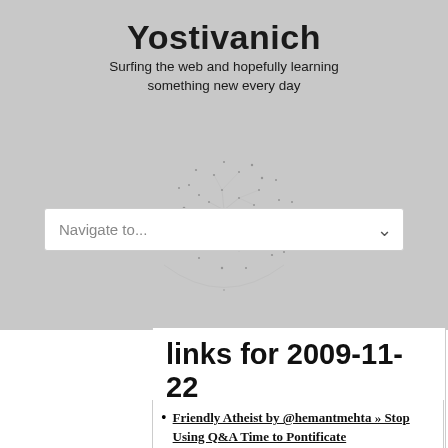Yostivanich
Surfing the web and hopefully learning something new every day
[Figure (other): Network/web visualization graphic in gray tones]
links for 2009-11-22
Friendly Atheist by @hemantmehta » Stop Using Q&A Time to Pontificate — "The problem: Many of those atheists used the time not to ask a question, but to tell everyone about their views of religion. For example, they felt the need to comment on things Wilson argued in the movie. There was no question posed to me or Chad — it was just long, rambling, word vomit.